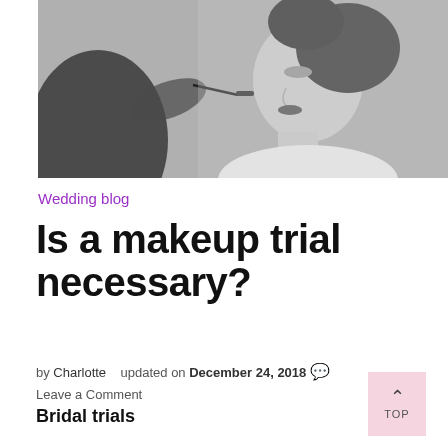[Figure (photo): Black and white photo of a bride having lipstick applied by a makeup artist, side profile view]
Wedding blog
Is a makeup trial necessary?
by Charlotte   updated on December 24, 2018 💬 Leave a Comment
Bridal trials